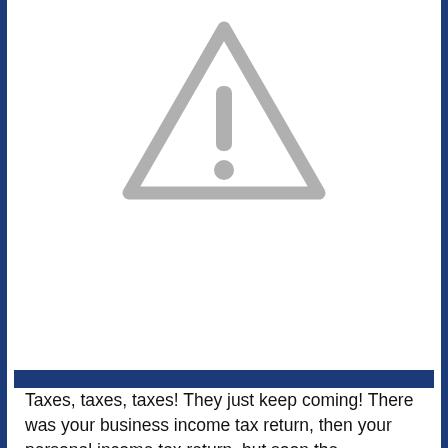[Figure (illustration): Warning triangle icon with exclamation mark in gray, centered near top of page]
Taxes, taxes, taxes! They just keep coming! There was your business income tax return, then your personal income tax return, but soon the information returns deadline for nonprofits will be here on May 15th! Yikes, just when you though tax season was over, it's time to file for your nonprofit organization. But, don't worry if you